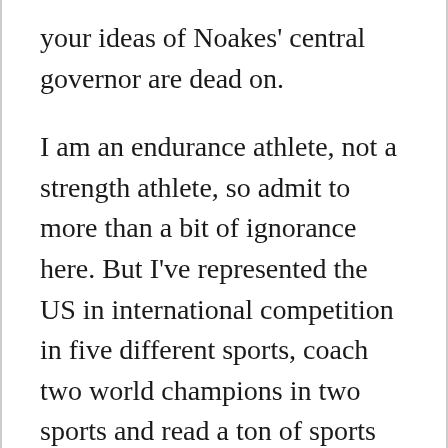your ideas of Noakes' central governor are dead on.
I am an endurance athlete, not a strength athlete, so admit to more than a bit of ignorance here. But I've represented the US in international competition in five different sports, coach two world champions in two sports and read a ton of sports science literature, so I'm damn curious. Particularly